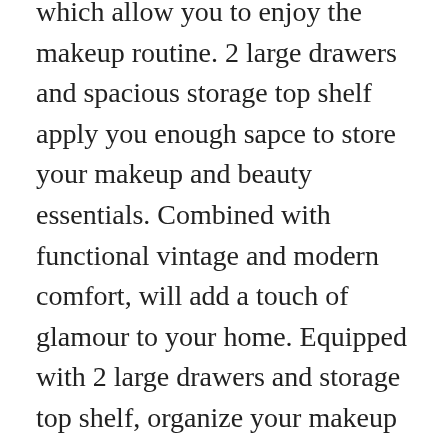which allow you to enjoy the makeup routine. 2 large drawers and spacious storage top shelf apply you enough sapce to store your makeup and beauty essentials. Combined with functional vintage and modern comfort, will add a touch of glamour to your home. Equipped with 2 large drawers and storage top shelf, organize your makeup accessories freely. The premium particle board and stainless steel construction in gold finish ensures steady support, a long-time use and great appearance. Easy to assemble according to instruction with two people. Package Included: 1× Dressing table, 1×Installation manual, 1× Installation accessories, 8 x Light bulbs. Large Mirror with Lights. Featured 23.62″20.07″ mirror with 8x E27 3W soft white bulbs to provide you a clean and bright reflection. Lots of Storage Space.